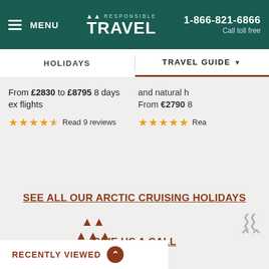MENU | RESPONSIBLE TRAVEL | 1-866-821-6866 Call toll free
HOLIDAYS | TRAVEL GUIDE
From £2830 to £8795 8 days ex flights
★★★★½ Read 9 reviews
and natural h
From €2790 8
★★★★★ Rea
SEE ALL OUR ARCTIC CRUISING HOLIDAYS
GIVE US A CALL
RECENTLY VIEWED